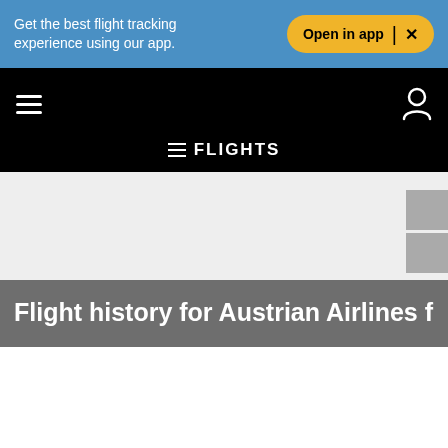Get the best flight tracking experience using our app.
Open in app | ×
≡ FLIGHTS
Flight history for Austrian Airlines flight OS71